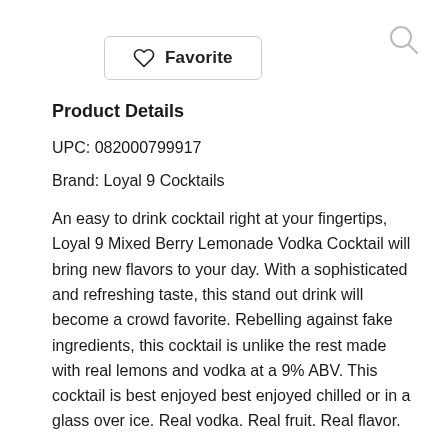[Figure (other): Favorite button with heart icon outline]
[Figure (other): Search magnifying glass icon]
Product Details
UPC: 082000799917
Brand: Loyal 9 Cocktails
An easy to drink cocktail right at your fingertips, Loyal 9 Mixed Berry Lemonade Vodka Cocktail will bring new flavors to your day. With a sophisticated and refreshing taste, this stand out drink will become a crowd favorite. Rebelling against fake ingredients, this cocktail is unlike the rest made with real lemons and vodka at a 9% ABV. This cocktail is best enjoyed best enjoyed chilled or in a glass over ice. Real vodka. Real fruit. Real flavor.